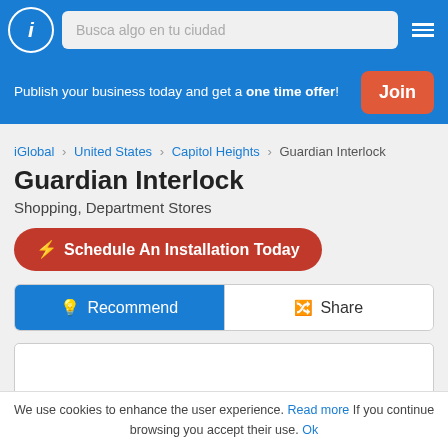Busca algo en tu ciudad
Publish your business today and get a one time offer!
Join
iGlobal > United States > Capitol Heights > Guardian Interlock
Guardian Interlock
Shopping, Department Stores
Schedule An Installation Today
Recommend
Share
We use cookies to enhance the user experience. Read more If you continue browsing you accept their use. Ok